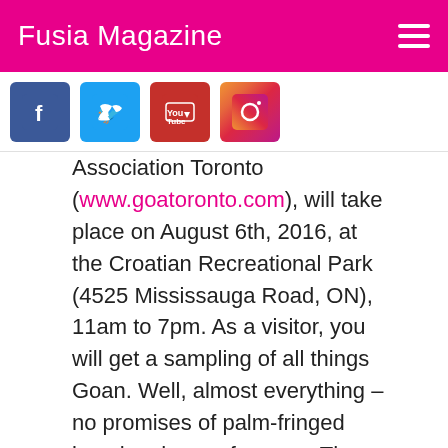Fusia Magazine
[Figure (logo): Social media icons: Facebook, Twitter, YouTube, Instagram]
Association Toronto (www.goatoronto.com), will take place on August 6th, 2016, at the Croatian Recreational Park (4525 Mississauga Road, ON), 11am to 7pm. As a visitor, you will get a sampling of all things Goan. Well, almost everything – no promises of palm-fringed beaches here, of course. The popular festival attracted over 2000 visitors last year and is estimated to attract